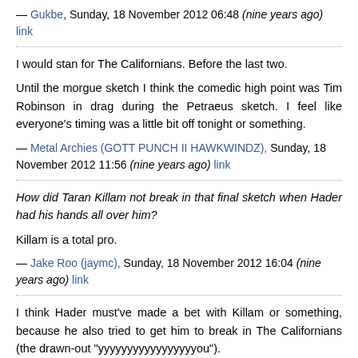— Gukbe, Sunday, 18 November 2012 06:48 (nine years ago) link
I would stan for The Californians. Before the last two.
Until the morgue sketch I think the comedic high point was Tim Robinson in drag during the Petraeus sketch. I feel like everyone's timing was a little bit off tonight or something.
— Metal Archies (GOTT PUNCH II HAWKWINDZ), Sunday, 18 November 2012 11:56 (nine years ago) link
How did Taran Killam not break in that final sketch when Hader had his hands all over him?
Killam is a total pro.
— Jake Roo (jaymc), Sunday, 18 November 2012 16:04 (nine years ago) link
I think Hader must've made a bet with Killam or something, because he also tried to get him to break in The Californians (the drawn-out "yyyyyyyyyyyyyyyyyou").
— [name truncated], Sunday, 18 November 2012...